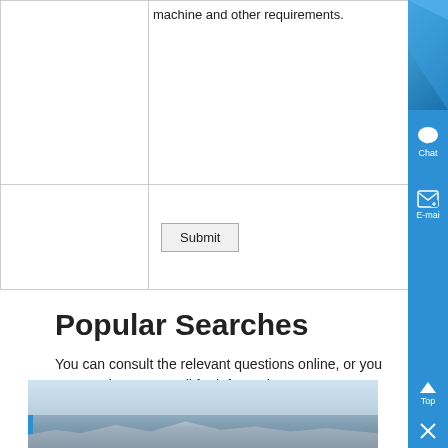|  | machine and other requirements. |
|  | Submit |
Popular Searches
You can consult the relevant questions online, or you can send us an e-mail for information.
[Figure (photo): Landscape photo showing mountains and sky at the bottom of the page]